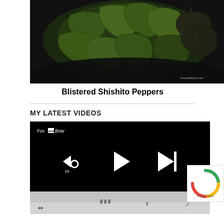[Figure (photo): Overhead shot of blistered shishito peppers in a dark cast iron skillet on a dark background, with watermark text 'foxandbriar.com' at bottom right]
Blistered Shishito Peppers
MY LATEST VIDEOS
[Figure (screenshot): Video player with black background showing Fox and Briar logo at top left, media controls (rewind 10s, play, skip next) in center, and a reflected bottom strip]
[Figure (other): reCAPTCHA badge with blue spinning logo and 'Privacy · Terms' text]